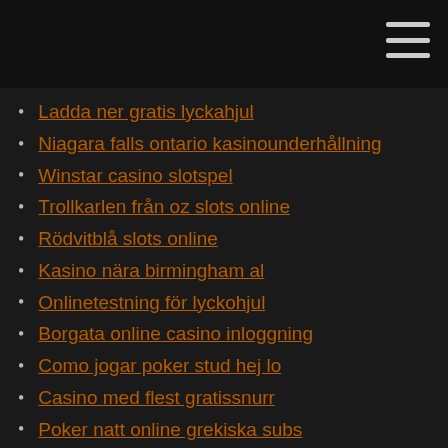Ladda ner gratis lyckahjul
Niagara falls ontario kasinounderhållning
Winstar casino slotspel
Trollkarlen från oz slots online
Rödvitblå slots online
Kasino nära birmingham al
Onlinetestning för lyckohjul
Borgata online casino inloggning
Como jogar poker stud hej lo
Casino med flest gratissnurr
Poker natt online grekiska subs
Pai gow pokerbord
Rödvitblå slots online